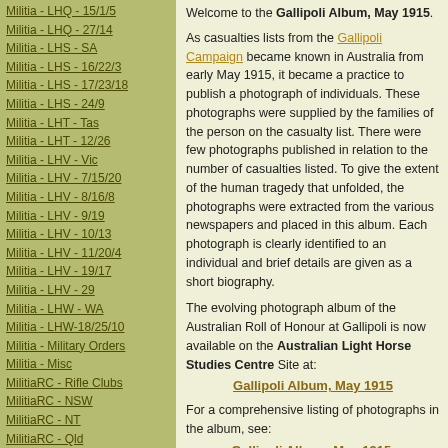Militia - LHQ - 15/1/5
Militia - LHQ - 27/14
Militia - LHS - SA
Militia - LHS - 16/22/3
Militia - LHS - 17/23/18
Militia - LHS - 24/9
Militia - LHT - Tas
Militia - LHT - 12/26
Militia - LHV - Vic
Militia - LHV - 7/15/20
Militia - LHV - 8/16/8
Militia - LHV - 9/19
Militia - LHV - 10/13
Militia - LHV - 11/20/4
Militia - LHV - 19/17
Militia - LHV - 29
Militia - LHW - WA
Militia - LHW-18/25/10
Militia - Military Orders
Militia - Misc
MilitiaRC - Rifle Clubs
MilitiaRC - NSW
MilitiaRC - NT
MilitiaRC - Qld
MilitiaRC - SA
MilitiaRC - Tas
MilitiaRC - Vic
MilitiaRC - WA
Welcome to the Gallipoli Album, May 1915.
As casualties lists from the Gallipoli Campaign became known in Australia from early May 1915, it became a practice to publish a photograph of individuals. These photographs were supplied by the families of the person on the casualty list. There were few photographs published in relation to the number of casualties listed. To give the extent of the human tragedy that unfolded, the photographs were extracted from the various newspapers and placed in this album. Each photograph is clearly identified to an individual and brief details are given as a short biography.
The evolving photograph album of the Australian Roll of Honour at Gallipoli is now available on the Australian Light Horse Studies Centre Site at:
Gallipoli Album, May 1915
For a comprehensive listing of photographs in the album, see:
Gallipoli Album, May 1915,